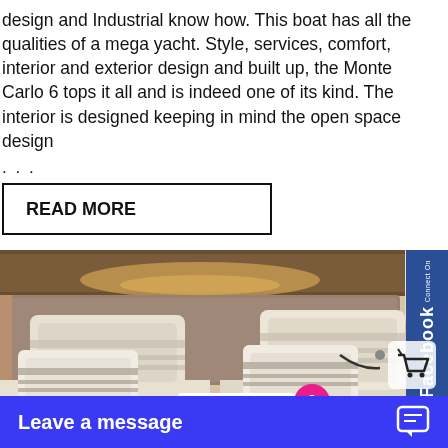design and Industrial know how. This boat has all the qualities of a mega yacht. Style, services, comfort, interior and exterior design and built up, the Monte Carlo 6 tops it all and is indeed one of its kind. The interior is designed keeping in mind the open space design
...
READ MORE
[Figure (photo): Interior photo of a yacht cabin showing two beds/lounges with cream and grey striped pillows, wooden ceiling panels with recessed lighting, and a porthole window on the right side. A 'yachtbedding' branded card is visible on one of the beds.]